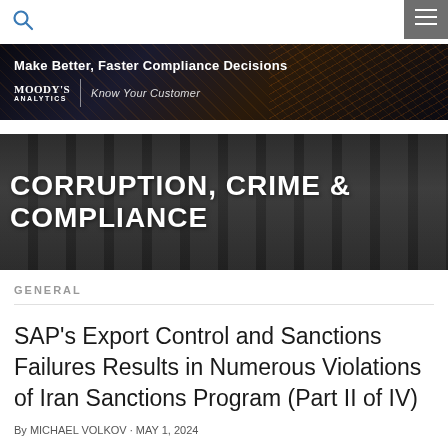[Figure (screenshot): Top navigation bar with blue search icon on left and grey hamburger menu on right]
[Figure (screenshot): Moody's Analytics Know Your Customer advertisement banner — Make Better, Faster Compliance Decisions]
[Figure (photo): Hero banner with dark columns/pillars background and white bold text CORRUPTION, CRIME & COMPLIANCE]
GENERAL
SAP's Export Control and Sanctions Failures Results in Numerous Violations of Iran Sanctions Program (Part II of IV)